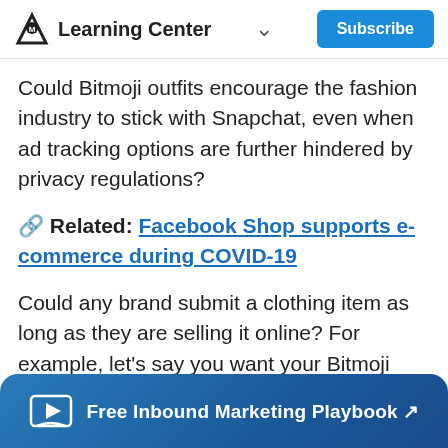Learning Center  ∨  Subscribe
Could Bitmoji outfits encourage the fashion industry to stick with Snapchat, even when ad tracking options are further hindered by privacy regulations?
🔗 Related: Facebook Shop supports e-commerce during COVID-19
Could any brand submit a clothing item as long as they are selling it online? For example, let's say you want your Bitmoji wearing a hat with your tree cutting service's logo on it. Brand swag can be a big deal, and if you can get passive marketing by
Free Inbound Marketing Playbook ↗